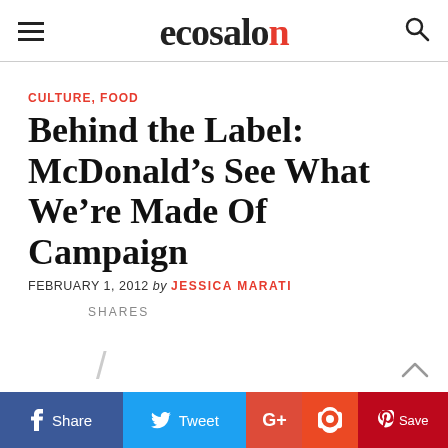ecosalon
CULTURE, FOOD
Behind the Label: McDonald’s See What We’re Made Of Campaign
FEBRUARY 1, 2012 by JESSICA MARATI
SHARES